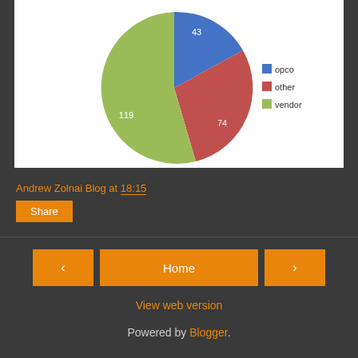[Figure (pie-chart): ]
Andrew Zolnai Blog at 18:15
Share
Home
View web version
Powered by Blogger.